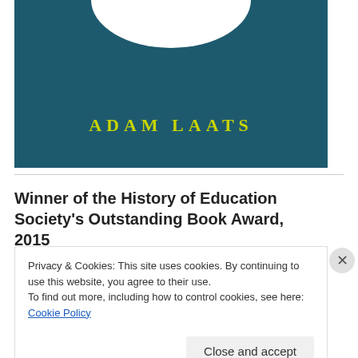[Figure (illustration): Book cover top portion showing author name 'ADAM LAATS' in yellow serif lettering on a dark teal background, with a white arc shape at the top]
Winner of the History of Education Society's Outstanding Book Award, 2015
[Figure (photo): Blue-toned photograph of tree branches against a sky, partially covered by a cookie consent banner]
Privacy & Cookies: This site uses cookies. By continuing to use this website, you agree to their use.
To find out more, including how to control cookies, see here: Cookie Policy
Close and accept